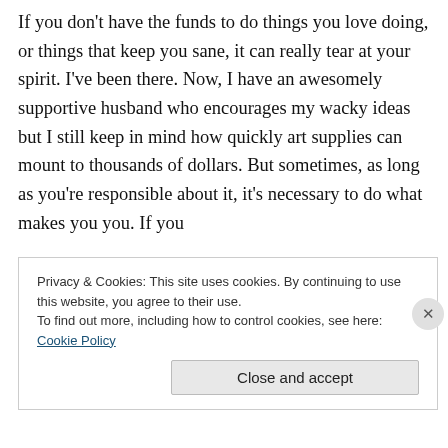If you don't have the funds to do things you love doing, or things that keep you sane, it can really tear at your spirit. I've been there. Now, I have an awesomely supportive husband who encourages my wacky ideas but I still keep in mind how quickly art supplies can mount to thousands of dollars. But sometimes, as long as you're responsible about it, it's necessary to do what makes you you. If you
Privacy & Cookies: This site uses cookies. By continuing to use this website, you agree to their use.
To find out more, including how to control cookies, see here: Cookie Policy
Close and accept